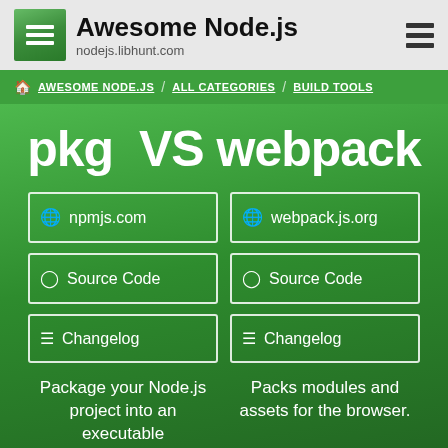Awesome Node.js — nodejs.libhunt.com
AWESOME NODE.JS / ALL CATEGORIES / BUILD TOOLS
pkg VS webpack
npmjs.com
Source Code
Changelog
webpack.js.org
Source Code
Changelog
Package your Node.js project into an executable
Packs modules and assets for the browser.